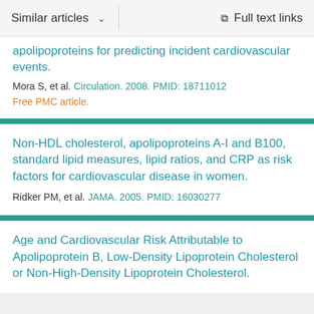Similar articles   Full text links
apolipoproteins for predicting incident cardiovascular events.
Mora S, et al. Circulation. 2008. PMID: 18711012
Free PMC article.
Non-HDL cholesterol, apolipoproteins A-I and B100, standard lipid measures, lipid ratios, and CRP as risk factors for cardiovascular disease in women.
Ridker PM, et al. JAMA. 2005. PMID: 16030277
Age and Cardiovascular Risk Attributable to Apolipoprotein B, Low-Density Lipoprotein Cholesterol or Non-High-Density Lipoprotein Cholesterol.